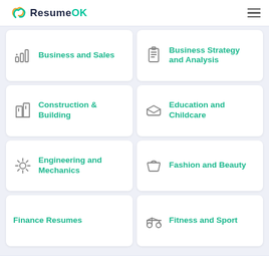ResumeOK
Business and Sales
Business Strategy and Analysis
Construction & Building
Education and Childcare
Engineering and Mechanics
Fashion and Beauty
Finance Resumes
Fitness and Sport